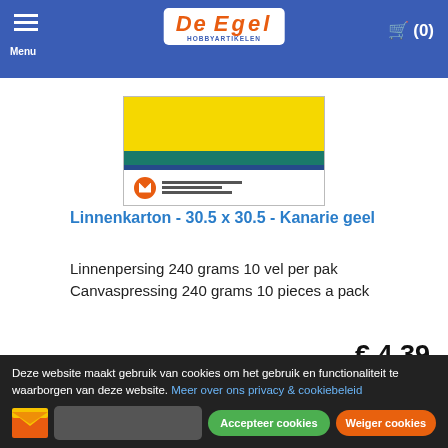De Egel Hobbyartikelen — Menu | Cart (0)
[Figure (photo): Product image of Linnenkarton yellow canvas board packaging — yellow top, teal stripe, dark blue bar, white bottom with small logo and text lines]
Linnenkarton - 30.5 x 30.5 - Kanarie geel
Linnenpersing 240 grams 10 vel per pak Canvaspressing 240 grams 10 pieces a pack
€ 4.39
1  Nu bestellen
Deze website maakt gebruik van cookies om het gebruik en functionaliteit te waarborgen van deze website. Meer over ons privacy & cookiebeleid
Accepteer cookies  Weiger cookies